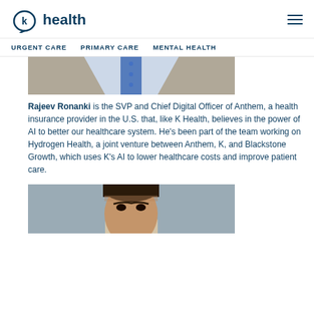K Health — URGENT CARE | PRIMARY CARE | MENTAL HEALTH
[Figure (photo): Partial photo of a person wearing a suit and tie, cropped showing shirt/tie area]
Rajeev Ronanki is the SVP and Chief Digital Officer of Anthem, a health insurance provider in the U.S. that, like K Health, believes in the power of AI to better our healthcare system. He's been part of the team working on Hydrogen Health, a joint venture between Anthem, K, and Blackstone Growth, which uses K's AI to lower healthcare costs and improve patient care.
[Figure (photo): Photo of a person, partially visible, showing face/head from forehead down, against a gray background]